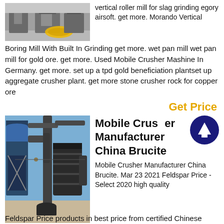[Figure (photo): Industrial grinding mill machinery in a facility with a yellow circular element visible]
vertical roller mill for slag grinding egory airsoft. get more. Morando Vertical Boring Mill With Built In Grinding get more. wet pan mill wet pan mill for gold ore. get more. Used Mobile Crusher Mashine In Germany. get more. set up a tpd gold beneficiation plantset up aggregate crusher plant. get more stone crusher rock for copper ore
Get Price
[Figure (photo): Industrial mobile crusher equipment outdoors with ductwork and conveyor structures]
Mobile Crusher Manufacturer China Brucite
Mobile Crusher Manufacturer China Brucite. Mar 23 2021 Feldspar Price - Select 2020 high quality
Feldspar Price products in best price from certified Chinese